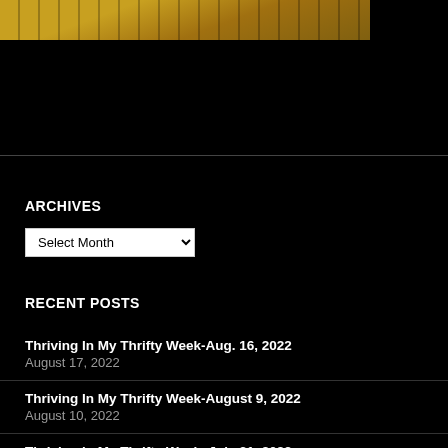[Figure (photo): Partial photo of food (appears to be baked goods on a cooling rack) on a dark background, cropped at the top of the page.]
ARCHIVES
Select Month
RECENT POSTS
Thriving In My Thrifty Week-Aug. 16, 2022
August 17, 2022
Thriving In My Thrifty Week-August 9, 2022
August 10, 2022
Thriving in My Thrifty Week–July 31, 2022
August 1, 2022